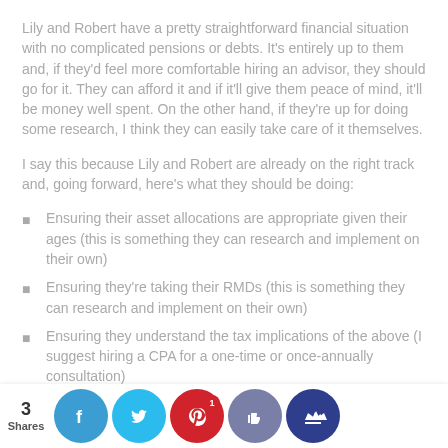Lily and Robert have a pretty straightforward financial situation with no complicated pensions or debts. It's entirely up to them and, if they'd feel more comfortable hiring an advisor, they should go for it. They can afford it and if it'll give them peace of mind, it'll be money well spent. On the other hand, if they're up for doing some research, I think they can easily take care of it themselves.
I say this because Lily and Robert are already on the right track and, going forward, here's what they should be doing:
Ensuring their asset allocations are appropriate given their ages (this is something they can research and implement on their own)
Ensuring they're taking their RMDs (this is something they can research and implement on their own)
Ensuring they understand the tax implications of the above (I suggest hiring a CPA for a one-time or once-annually consultation)
Ensuring they're not paying too much in fees for their investments (something they can research on their own)